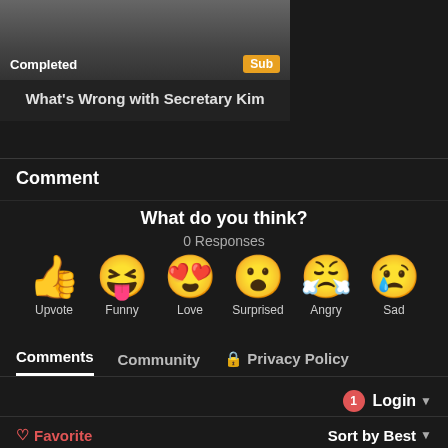[Figure (screenshot): Thumbnail image of TV show 'What's Wrong with Secretary Kim' with 'Completed' badge and 'Sub' badge]
What's Wrong with Secretary Kim
Comment
What do you think?
0 Responses
[Figure (infographic): Emoji reaction buttons: Upvote (thumbs up), Funny (laughing), Love (heart eyes), Surprised (wow face), Angry (crying/angry), Sad (sad with tear)]
Comments   Community   Privacy Policy
Login
Favorite   Sort by Best